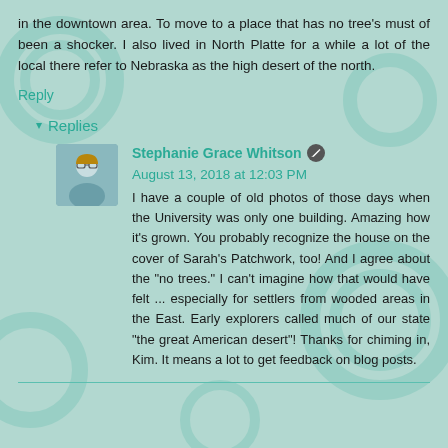in the downtown area. To move to a place that has no tree's must of been a shocker. I also lived in North Platte for a while a lot of the local there refer to Nebraska as the high desert of the north.
Reply
Replies
Stephanie Grace Whitson  August 13, 2018 at 12:03 PM
I have a couple of old photos of those days when the University was only one building. Amazing how it's grown. You probably recognize the house on the cover of Sarah's Patchwork, too! And I agree about the "no trees." I can't imagine how that would have felt ... especially for settlers from wooded areas in the East. Early explorers called much of our state "the great American desert"! Thanks for chiming in, Kim. It means a lot to get feedback on blog posts.